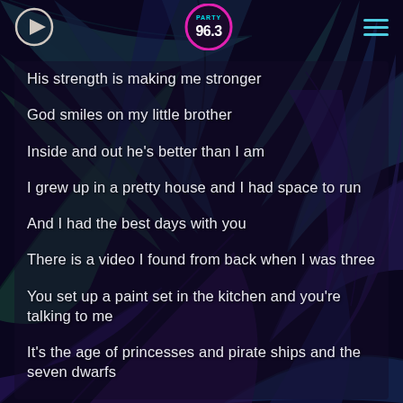[Figure (illustration): Dark tropical palm leaf background with purple, teal, and green color tones on a very dark background]
Party 96.3 radio station header with play button icon on left, Party 96.3 logo in center, and hamburger menu icon on right
His strength is making me stronger
God smiles on my little brother
Inside and out he's better than I am
I grew up in a pretty house and I had space to run
And I had the best days with you
There is a video I found from back when I was three
You set up a paint set in the kitchen and you're talking to me
It's the age of princesses and pirate ships and the seven dwarfs